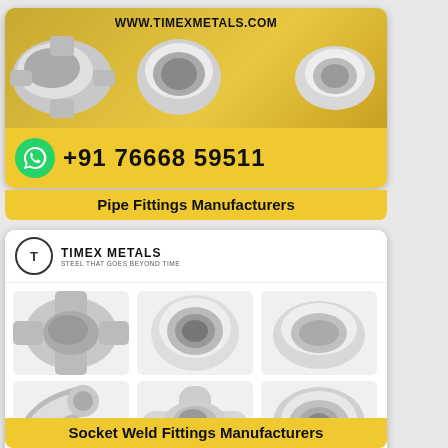[Figure (photo): Top card showing metal pipe fittings on gold/yellow background with WhatsApp icon, phone number +91 76668 59511, and website WWW.TIMEXMETALS.COM]
Pipe Fittings Manufacturers
[Figure (photo): Bottom card showing Timex Metals logo, six stainless steel socket weld fittings (cross, coupling, cap, elbow, tee, socket) on white background with gold footer, WhatsApp icons, phone number +91 76668 59511, and website WWW.TIMEXMETALS.COM]
Socket Weld Fittings Manufacturers